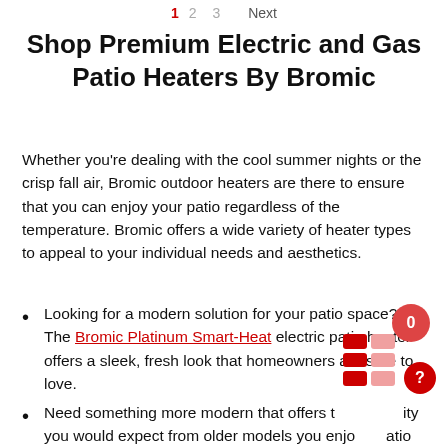1  2  3  Next
Shop Premium Electric and Gas Patio Heaters By Bromic
Whether you're dealing with the cool summer nights or the crisp fall air, Bromic outdoor heaters are there to ensure that you can enjoy your patio regardless of the temperature. Bromic offers a wide variety of heater types to appeal to your individual needs and aesthetics.
Looking for a modern solution for your patio space? The Bromic Platinum Smart-Heat electric patio heater offers a sleek, fresh look that homeowners are sure to love.
Need something more modern that offers the durability you would expect from older models you enjoy? Patio heaters like the Bromic Heating Tungsten Smart-Heat Electric Infrared Patio Heater offer you the functionality of modern heaters at an affordable price point.